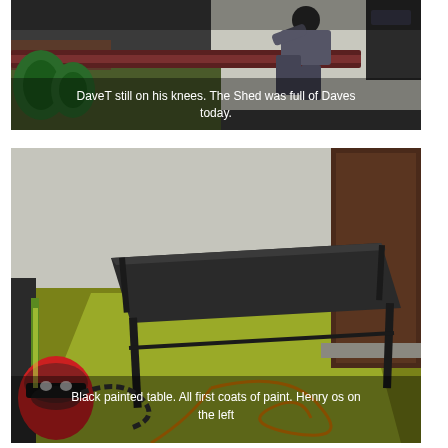[Figure (photo): A person kneeling down working in what appears to be a shed or workshop area, with green flooring and a dark-coloured long object (possibly a rail or table edge) in the foreground. Text overlay reads: DaveT still on his knees. The Shed was full of Daves today.]
[Figure (photo): Interior of a shed or workshop room with green/yellow painted floor, a black-painted folding table in the centre, a dark brown door on the right, and a red Henry vacuum cleaner on the lower left. An orange extension cord is coiled on the floor. Text overlay reads: Black painted table. All first coats of paint. Henry os on the left]